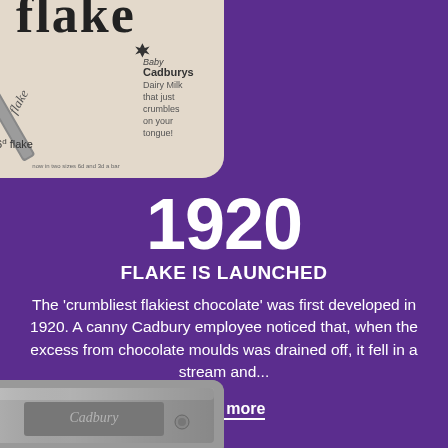[Figure (photo): Vintage Cadbury Flake advertisement showing a Flake chocolate bar with text 'flake', '6d flake', 'Baby Cadburys Dairy Milk that just crumbles on your tongue!']
1920
FLAKE IS LAUNCHED
The 'crumbliest flakiest chocolate' was first developed in 1920. A canny Cadbury employee noticed that, when the excess from chocolate moulds was drained off, it fell in a stream and...
Read more
[Figure (photo): Black and white photograph of a vintage Cadbury tin or box, partially visible at the bottom of the page]